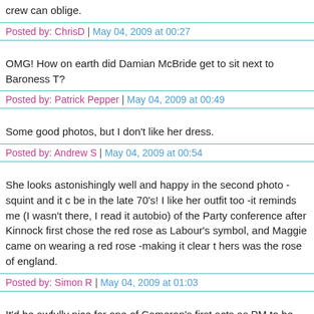crew can oblige.
Posted by: ChrisD | May 04, 2009 at 00:27
OMG! How on earth did Damian McBride get to sit next to Baroness T?
Posted by: Patrick Pepper | May 04, 2009 at 00:49
Some good photos, but I don't like her dress.
Posted by: Andrew S | May 04, 2009 at 00:54
She looks astonishingly well and happy in the second photo -squint and it could be in the late 70's! I like her outfit too -it reminds me (I wasn't there, I read it autobio) of the Party conference after Kinnock first chose the red rose as Labour's symbol, and Maggie came on wearing a red rose -making it clear that hers was the rose of england.
Posted by: Simon R | May 04, 2009 at 01:03
It'd be awfully nice for one of Cameron's first acts as PM to be reviving tradi